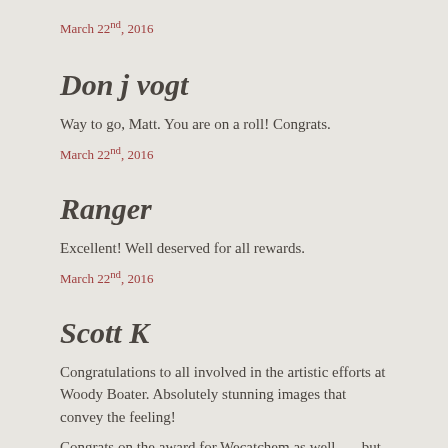March 22nd, 2016
Don j vogt
Way to go, Matt. You are on a roll! Congrats.
March 22nd, 2016
Ranger
Excellent! Well deserved for all rewards.
March 22nd, 2016
Scott K
Congratulations to all involved in the artistic efforts at Woody Boater. Absolutely stunning images that convey the feeling!
Congrats on the award for Wecatchem as well.......but I suspect your real award is all the happy people that experienced that Van